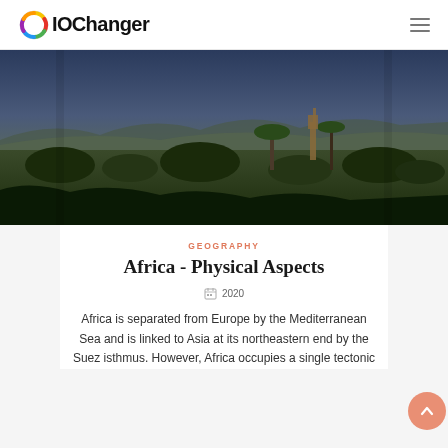IOChanger
[Figure (photo): Wide landscape photo of African savanna with giraffe visible among acacia trees, dark blue sky in background]
GEOGRAPHY
Africa - Physical Aspects
2020
Africa is separated from Europe by the Mediterranean Sea and is linked to Asia at its northeastern end by the Suez isthmus. However, Africa occupies a single tectonic